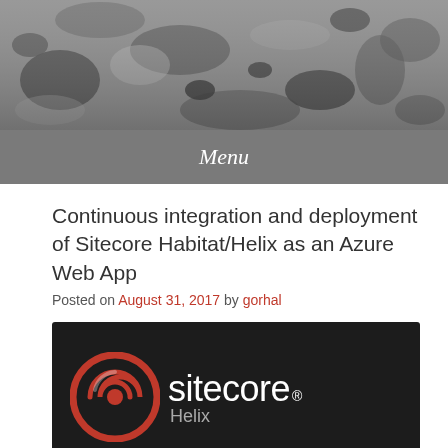[Figure (photo): Black and white rocky/asteroid surface texture used as header banner image]
Menu
Continuous integration and deployment of Sitecore Habitat/Helix as an Azure Web App
Posted on August 31, 2017 by gorhal
[Figure (logo): Sitecore Helix logo — white sitecore® wordmark with red circular swirl icon on black background, Helix subtitle]
[Figure (logo): Habitat logo on dark blue background with W-pattern mark]
[Figure (logo): Microsoft Azure logo — blue cloud with Windows logo icon and Azure text]